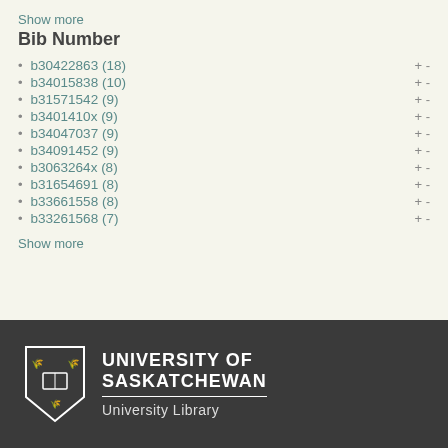Show more
Bib Number
b30422863 (18)
b34015838 (10)
b31571542 (9)
b3401410x (9)
b34047037 (9)
b34091452 (9)
b3063264x (8)
b31654691 (8)
b33661558 (8)
b33261568 (7)
Show more
[Figure (logo): University of Saskatchewan shield logo with wheat sheaves and open book]
University of Saskatchewan University Library